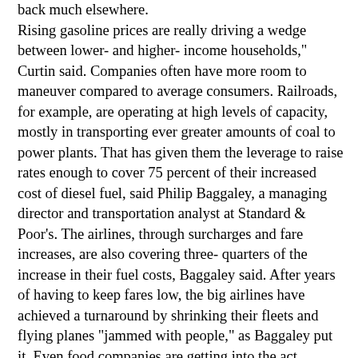back much elsewhere. Rising gasoline prices are really driving a wedge between lower- and higher- income households," Curtin said. Companies often have more room to maneuver compared to average consumers. Railroads, for example, are operating at high levels of capacity, mostly in transporting ever greater amounts of coal to power plants. That has given them the leverage to raise rates enough to cover 75 percent of their increased cost of diesel fuel, said Philip Baggaley, a managing director and transportation analyst at Standard & Poor's. The airlines, through surcharges and fare increases, are also covering three- quarters of the increase in their fuel costs, Baggaley said. After years of having to keep fares low, the big airlines have achieved a turnaround by shrinking their fleets and flying planes “jammed with people,” as Baggaley put it. Even food companies are getting into the act. Kellogg will raise cereal prices by about 2 percent in September, the first increase since July 2004, said Neal Goldner, the company's director of investor relations.